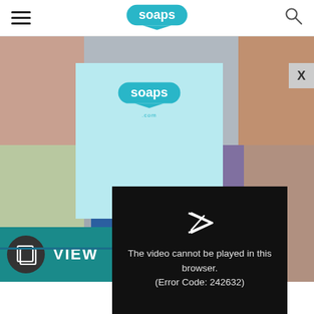soaps.com navigation header
[Figure (screenshot): Soaps.com website screenshot showing a photo collage of soap opera actors, a teal VIEW banner, a light blue advertisement overlay with Soaps.com logo, an X close button, and a video player error overlay reading 'The video cannot be played in this browser. (Error Code: 242632)']
The video cannot be played in this browser. (Error Code: 242632)